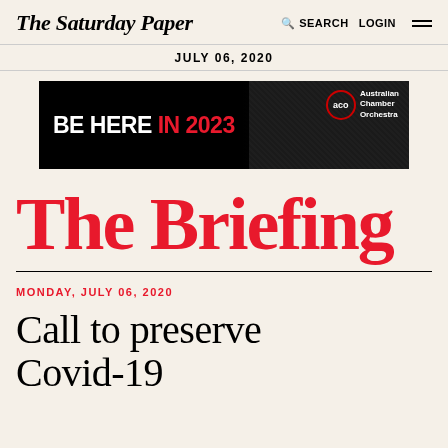The Saturday Paper   SEARCH   LOGIN
JULY 06, 2020
[Figure (illustration): Black advertisement banner for Australian Chamber Orchestra reading 'BE HERE IN 2023' with aco logo and musicians in background]
The Briefing
MONDAY, JULY 06, 2020
Call to preserve Covid-19